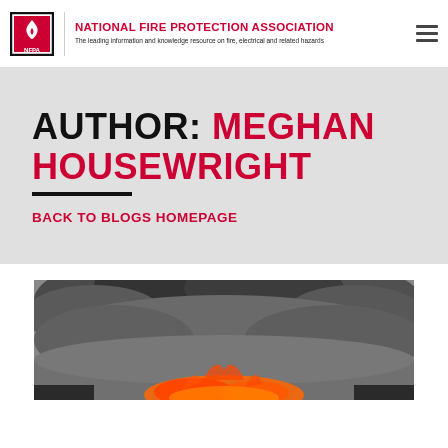NATIONAL FIRE PROTECTION ASSOCIATION — The leading information and knowledge resource on fire, electrical and related hazards
AUTHOR: MEGHAN HOUSEWRIGHT
BACK TO BLOGS HOMEPAGE
[Figure (photo): Large plume of dark smoke rising from a fire with orange flames visible at the base]